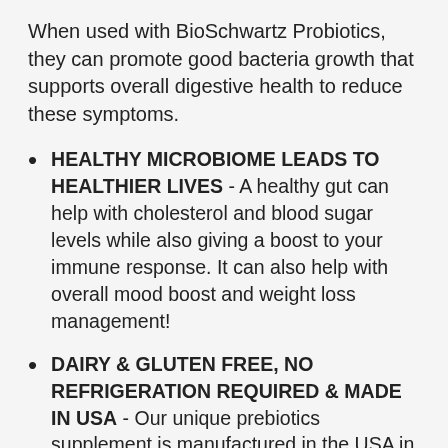When used with BioSchwartz Probiotics, they can promote good bacteria growth that supports overall digestive health to reduce these symptoms.
HEALTHY MICROBIOME LEADS TO HEALTHIER LIVES - A healthy gut can help with cholesterol and blood sugar levels while also giving a boost to your immune response. It can also help with overall mood boost and weight loss management!
DAIRY & GLUTEN FREE, NO REFRIGERATION REQUIRED & MADE IN USA - Our unique prebiotics supplement is manufactured in the USA in an FDA and cGMP, state-of-the-art facility. Every